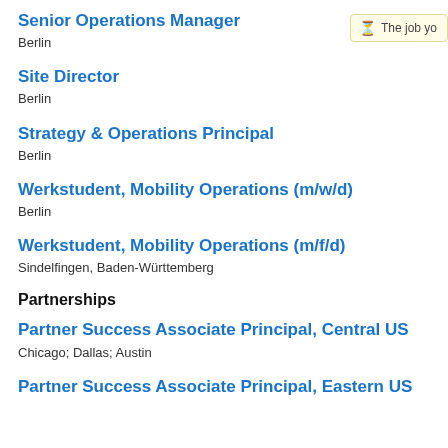Senior Operations Manager
Berlin
Site Director
Berlin
Strategy & Operations Principal
Berlin
Werkstudent, Mobility Operations (m/w/d)
Berlin
Werkstudent, Mobility Operations (m/f/d)
Sindelfingen, Baden-Württemberg
Partnerships
Partner Success Associate Principal, Central US
Chicago; Dallas; Austin
Partner Success Associate Principal, Eastern US